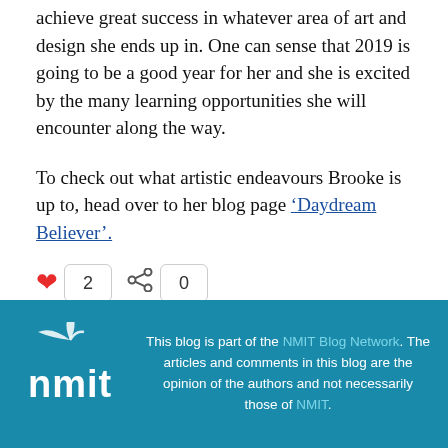achieve great success in whatever area of art and design she ends up in. One can sense that 2019 is going to be a good year for her and she is excited by the many learning opportunities she will encounter along the way.
To check out what artistic endeavours Brooke is up to, head over to her blog page ‘Daydream Believer’.
❤ 2  [share icon] 0
This blog is part of the NMIT Blog Network. The articles and comments in this blog are the opinion of the authors and not necessarily those of NMIT.